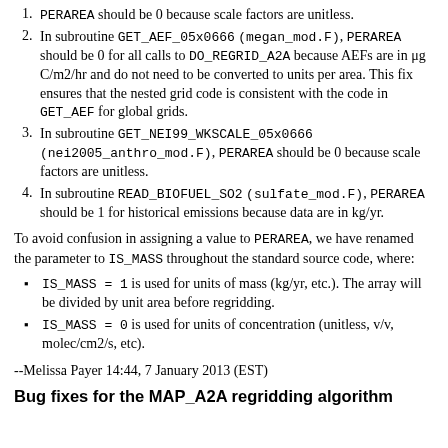PERAREA should be 0 because scale factors are unitless.
In subroutine GET_AEF_05x0666 (megan_mod.F), PERAREA should be 0 for all calls to DO_REGRID_A2A because AEFs are in μg C/m2/hr and do not need to be converted to units per area. This fix ensures that the nested grid code is consistent with the code in GET_AEF for global grids.
In subroutine GET_NEI99_WKSCALE_05x0666 (nei2005_anthro_mod.F), PERAREA should be 0 because scale factors are unitless.
In subroutine READ_BIOFUEL_SO2 (sulfate_mod.F), PERAREA should be 1 for historical emissions because data are in kg/yr.
To avoid confusion in assigning a value to PERAREA, we have renamed the parameter to IS_MASS throughout the standard source code, where:
IS_MASS = 1 is used for units of mass (kg/yr, etc.). The array will be divided by unit area before regridding.
IS_MASS = 0 is used for units of concentration (unitless, v/v, molec/cm2/s, etc).
--Melissa Payer 14:44, 7 January 2013 (EST)
Bug fixes for the MAP_A2A regridding algorithm